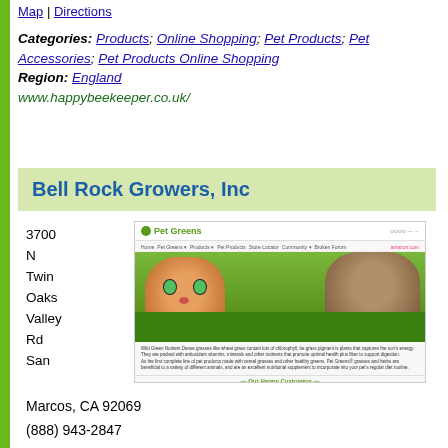Map | Directions
Categories: Products; Online Shopping; Pet Products; Pet Accessories; Pet Products Online Shopping
Region: England
www.happybeekeeper.co.uk/
Bell Rock Growers, Inc
3700 N Twin Oaks Valley Rd San
[Figure (screenshot): Screenshot of Pet Greens website showing a cat and dog peeking through grass, with navigation menu, text about pet greens products, and 'Our Happy Customers' section.]
Marcos, CA 92069
(888) 943-2847
info@bellrockgrowers.com